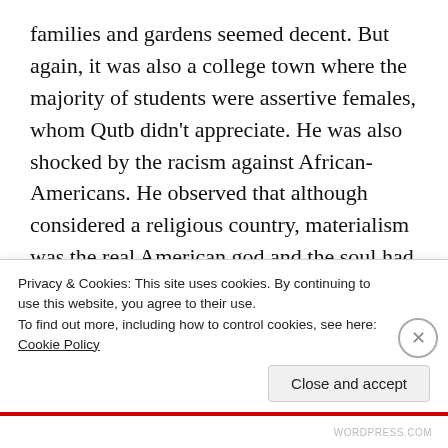families and gardens seemed decent. But again, it was also a college town where the majority of students were assertive females, whom Qutb didn't appreciate. He was also shocked by the racism against African-Americans. He observed that although considered a religious country, materialism was the real American god and the soul had no value. Basically, instead of liberalizing, his American experience radicalized him. His American friends however never noticed the resentment. He reserved his criticism to be published safely back home, where his radical writings would change the minds of Muslims everywhere about the United States. His criticism...
Privacy & Cookies: This site uses cookies. By continuing to use this website, you agree to their use.
To find out more, including how to control cookies, see here: Cookie Policy
Close and accept